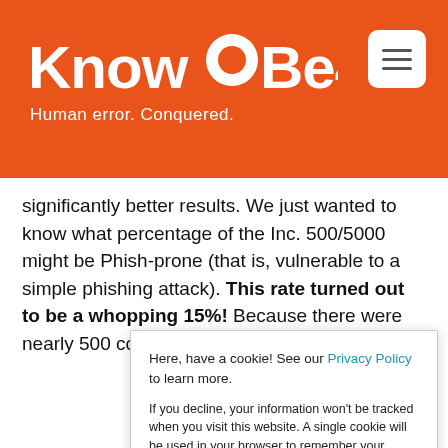[Figure (logo): KnowBe4 logo with orange banner header and hamburger menu button. Logo reads 'KnowBe4' in white with tagline 'Human error. Conquered.']
significantly better results. We just wanted to know what percentage of the Inc. 500/5000 might be Phish-prone (that is, vulnerable to a simple phishing attack). This rate turned out to be a whopping 15%! Because there were nearly 500 companies in which employees
Here, have a cookie! See our Privacy Policy to learn more.

If you decline, your information won't be tracked when you visit this website. A single cookie will be used in your browser to remember your preference not to be tracked.